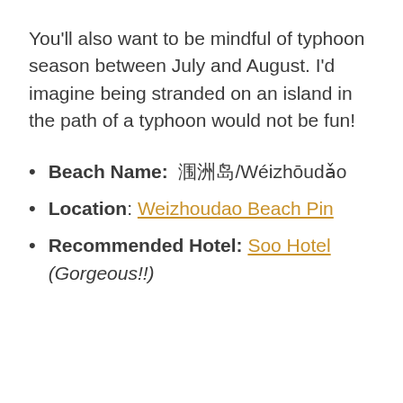You'll also want to be mindful of typhoon season between July and August. I'd imagine being stranded on an island in the path of a typhoon would not be fun!
Beach Name: 涠洲岛/Wéizhōudǎo
Location: Weizhoudao Beach Pin
Recommended Hotel: Soo Hotel (Gorgeous!!)